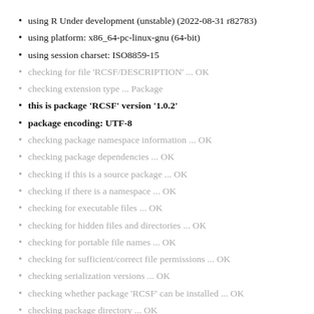using R Under development (unstable) (2022-08-31 r82783)
using platform: x86_64-pc-linux-gnu (64-bit)
using session charset: ISO8859-15
checking for file 'RCSF/DESCRIPTION' ... OK
checking extension type ... Package
this is package 'RCSF' version '1.0.2'
package encoding: UTF-8
checking package namespace information ... OK
checking package dependencies ... OK
checking if this is a source package ... OK
checking if there is a namespace ... OK
checking for executable files ... OK
checking for hidden files and directories ... OK
checking for portable file names ... OK
checking for sufficient/correct file permissions ... OK
checking serialization versions ... OK
checking whether package 'RCSF' can be installed ... OK
checking package directory ... OK
checking for future file timestamps ... OK
checking DESCRIPTION meta-information ... OK
checking top-level files ... OK
checking for left-over files ... OK
checking index information ... OK
checking package subdirectories ... OK